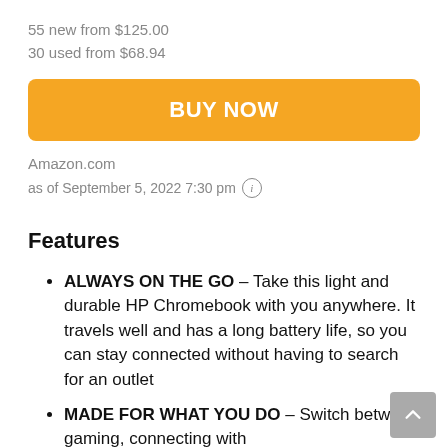55 new from $125.00
30 used from $68.94
BUY NOW
Amazon.com
as of September 5, 2022 7:30 pm ℹ
Features
ALWAYS ON THE GO – Take this light and durable HP Chromebook with you anywhere. It travels well and has a long battery life, so you can stay connected without having to search for an outlet
MADE FOR WHAT YOU DO – Switch between gaming, connecting with